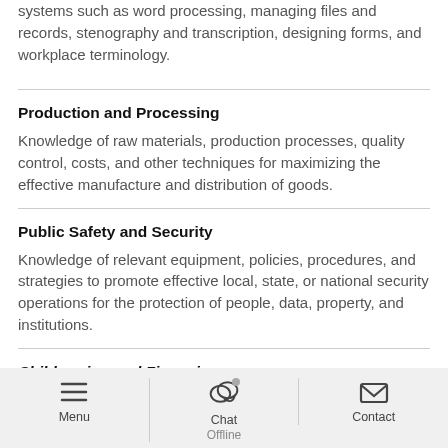systems such as word processing, managing files and records, stenography and transcription, designing forms, and workplace terminology.
Production and Processing
Knowledge of raw materials, production processes, quality control, costs, and other techniques for maximizing the effective manufacture and distribution of goods.
Public Safety and Security
Knowledge of relevant equipment, policies, procedures, and strategies to promote effective local, state, or national security operations for the protection of people, data, property, and institutions.
Childrearing and Financing
Menu | Chat Offline | Contact